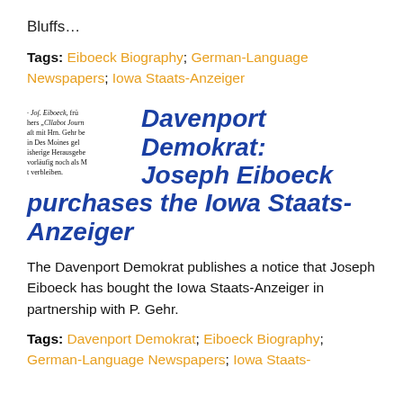Bluffs…
Tags: Eiboeck Biography; German-Language Newspapers; Iowa Staats-Anzeiger
[Figure (illustration): Small fraktur/blackletter German text clipping, appearing to be a newspaper snippet mentioning Jos. Eiboeck and related persons]
Davenport Demokrat: Joseph Eiboeck purchases the Iowa Staats-Anzeiger
The Davenport Demokrat publishes a notice that Joseph Eiboeck has bought the Iowa Staats-Anzeiger in partnership with P. Gehr.
Tags: Davenport Demokrat; Eiboeck Biography; German-Language Newspapers; Iowa Staats-